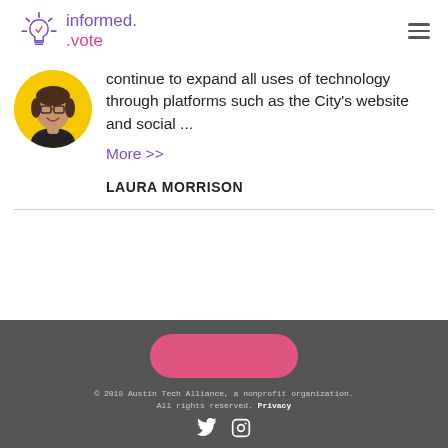informed.vote
[Figure (photo): Headshot of a woman with glasses, smiling, against a yellow circular background]
continue to expand all uses of technology through platforms such as the City's website and social ...
More >>
LAURA MORRISON
© 2018 Austin Tech Alliance, a nonprofit organization. All rights reserved. Privacy